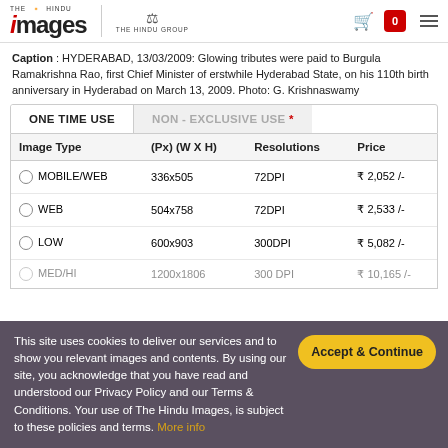THE HINDU images | THE HINDU GROUP
Caption : HYDERABAD, 13/03/2009: Glowing tributes were paid to Burgula Ramakrishna Rao, first Chief Minister of erstwhile Hyderabad State, on his 110th birth anniversary in Hyderabad on March 13, 2009. Photo: G. Krishnaswamy
| Image Type | (Px) (W X H) | Resolutions | Price |
| --- | --- | --- | --- |
| MOBILE/WEB | 336x505 | 72DPI | ₹ 2,052 /- |
| WEB | 504x758 | 72DPI | ₹ 2,533 /- |
| LOW | 600x903 | 300DPI | ₹ 5,082 /- |
| MED/HI | ... | 300DPI | ... |
This site uses cookies to deliver our services and to show you relevant images and contents. By using our site, you acknowledge that you have read and understood our Privacy Policy and our Terms & Conditions. Your use of The Hindu Images, is subject to these policies and terms. More info